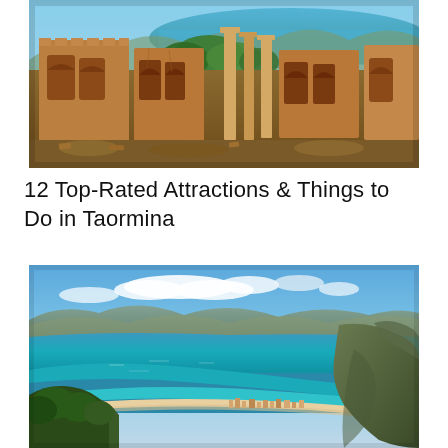[Figure (photo): Ancient Greek-Roman theater ruins in Taormina, Sicily, with stone arched walls and columns, lush green trees, and a turquoise coastal sea visible in the background under a blue sky.]
12 Top-Rated Attractions & Things to Do in Taormina
[Figure (photo): Aerial panoramic view of a Mediterranean coastal city (Taormina/Sicily area) with turquoise and deep blue sea, a sandy beach curving along the shore, colorful buildings, and mountains/cliffs in the background under a bright blue sky with white clouds.]